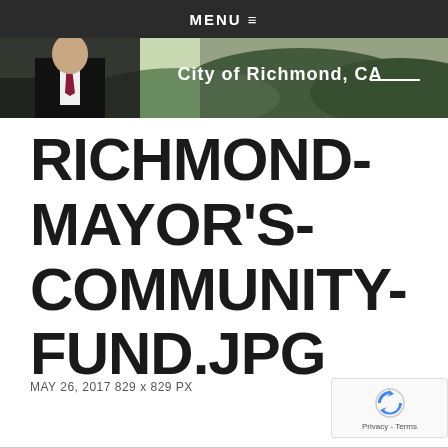MENU ≡
[Figure (photo): City of Richmond CA website header banner showing a man in a suit with a tie and aerial landscape view with text 'City of Richmond, CA']
RICHMOND-MAYOR'S-COMMUNITY-FUND.JPG
MAY 26, 2017 829 x 829 PX